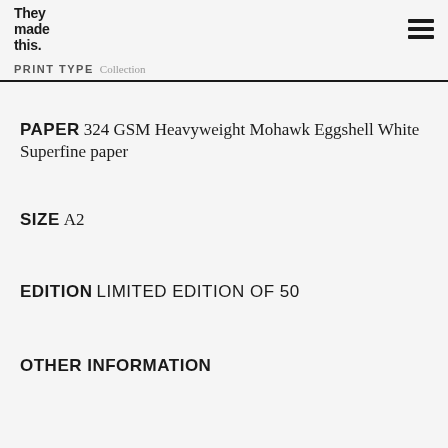They made this.
PRINT TYPE Collection
PAPER 324 GSM Heavyweight Mohawk Eggshell White Superfine paper
SIZE A2
EDITION LIMITED EDITION OF 50
OTHER INFORMATION